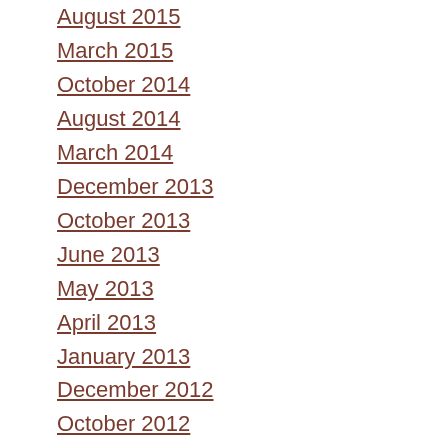August 2015
March 2015
October 2014
August 2014
March 2014
December 2013
October 2013
June 2013
May 2013
April 2013
January 2013
December 2012
October 2012
September 2012
August 2012
July 2012
May 2012
April 2012
March 2012